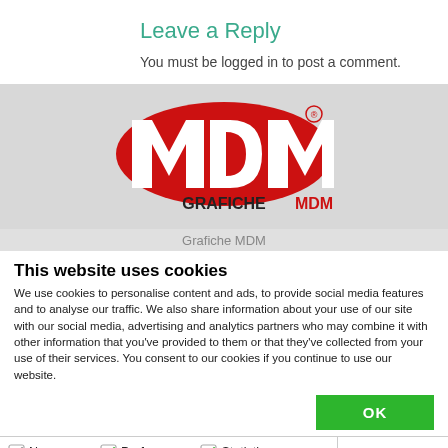Leave a Reply
You must be logged in to post a comment.
[Figure (logo): Grafiche MDM logo — red oval with white MDM letters, black text GRAFICHE MDM below]
This website uses cookies
We use cookies to personalise content and ads, to provide social media features and to analyse our traffic. We also share information about your use of our site with our social media, advertising and analytics partners who may combine it with other information that you've provided to them or that they've collected from your use of their services. You consent to our cookies if you continue to use our website.